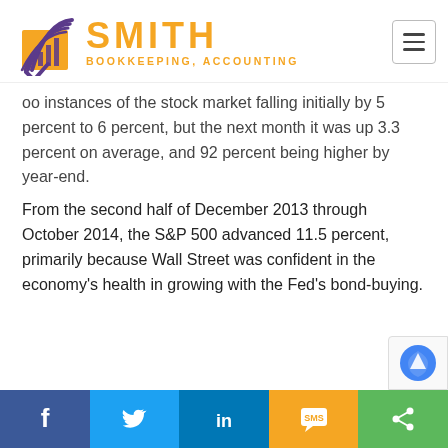[Figure (logo): Smith Bookkeeping, Accounting logo with orange and purple book/chart icon and hamburger menu button]
oo instances of the stock market falling initially by 5 percent to 6 percent, but the next month it was up 3.3 percent on average, and 92 percent being higher by year-end.
From the second half of December 2013 through October 2014, the S&P 500 advanced 11.5 percent, primarily because Wall Street was confident in the economy's health in growing with the Fed's bond-buying.
[Figure (infographic): Social share bar with Facebook, Twitter, LinkedIn, SMS, and share buttons]